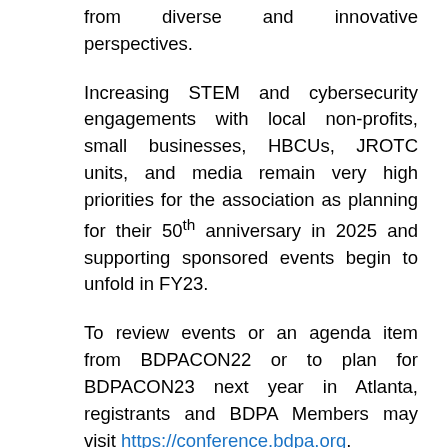from diverse and innovative perspectives.
Increasing STEM and cybersecurity engagements with local non-profits, small businesses, HBCUs, JROTC units, and media remain very high priorities for the association as planning for their 50th anniversary in 2025 and supporting sponsored events begin to unfold in FY23.
To review events or an agenda item from BDPACON22 or to plan for BDPACON23 next year in Atlanta, registrants and BDPA Members may visit https://conference.bdpa.org.
For media inquiries, requests from BDPA Chapters and journalists may be made by